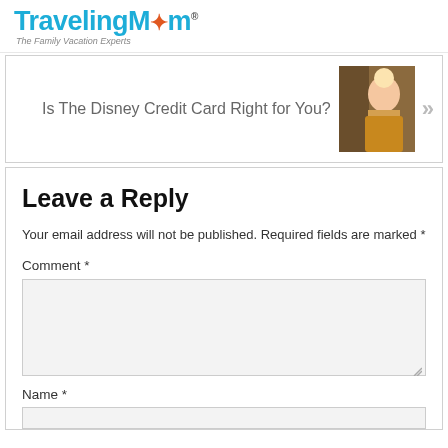TravelingMom — The Family Vacation Experts
[Figure (screenshot): Navigation card showing 'Is The Disney Credit Card Right for You?' with a photo of a Disney character and a right-arrow navigation button]
Leave a Reply
Your email address will not be published. Required fields are marked *
Comment *
Name *